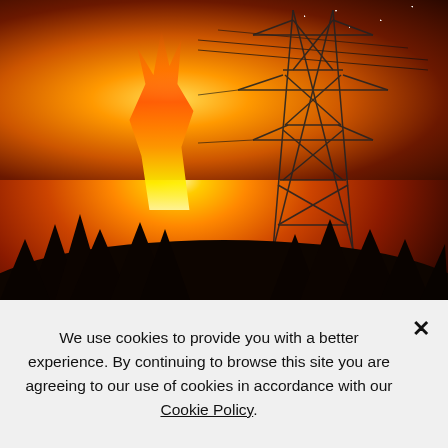[Figure (photo): A wildfire burning at night behind a large electrical transmission tower (power pylon). Intense orange and yellow flames illuminate the sky. Dark tree silhouettes appear in the foreground and mid-ground.]
We use cookies to provide you with a better experience. By continuing to browse this site you are agreeing to our use of cookies in accordance with our Cookie Policy.